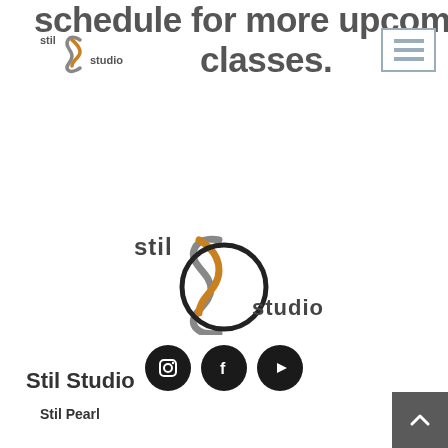schedule for more upcoming classes.
[Figure (logo): Stil Studio small logo in header]
[Figure (other): Hamburger menu icon button]
[Figure (logo): Stil Studio large center logo]
[Figure (other): Social media icons: Instagram, Facebook, YouTube]
Stil Studio
Stil Pearl